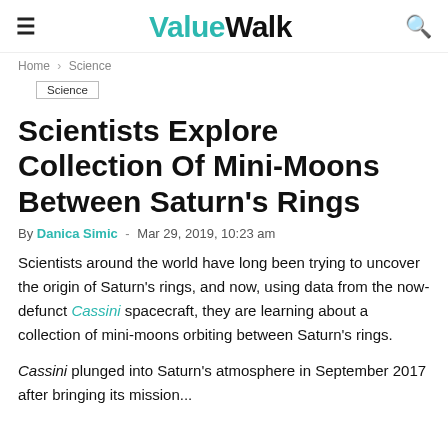ValueWalk
Home › Science
Science
Scientists Explore Collection Of Mini-Moons Between Saturn's Rings
By Danica Simic - Mar 29, 2019, 10:23 am
Scientists around the world have long been trying to uncover the origin of Saturn's rings, and now, using data from the now-defunct Cassini spacecraft, they are learning about a collection of mini-moons orbiting between Saturn's rings.
Cassini plunged into Saturn's atmosphere in September 2017 after bringing its mission...